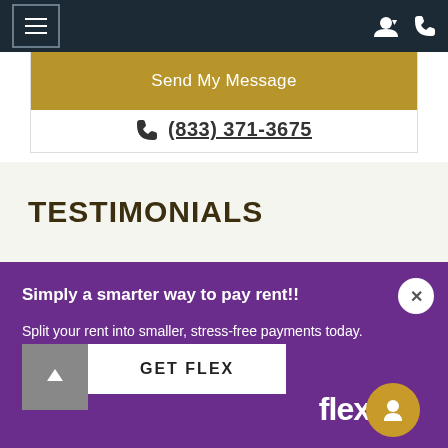Navigation bar with hamburger menu and icons
Send My Message
(833) 371-3675
TESTIMONIALS
Simply a smarter way to pay rent!!
Split your rent into smaller, stress-free payments today. Available for all residents.
GET FLEX